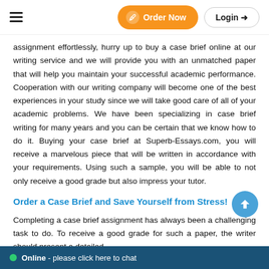Order Now | Login
assignment effortlessly, hurry up to buy a case brief online at our writing service and we will provide you with an unmatched paper that will help you maintain your successful academic performance. Cooperation with our writing company will become one of the best experiences in your study since we will take good care of all of your academic problems. We have been specializing in case brief writing for many years and you can be certain that we know how to do it. Buying your case brief at Superb-Essays.com, you will receive a marvelous piece that will be written in accordance with your requirements. Using such a sample, you will be able to not only receive a good grade but also impress your tutor.
Order a Case Brief and Save Yourself from Stress!
Completing a case brief assignment has always been a challenging task to do. To receive a good grade for such a paper, the writer should present a detailed